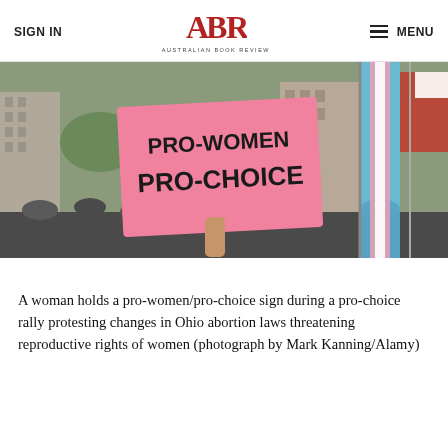SIGN IN | ABR AUSTRALIAN BOOK REVIEW | MENU
[Figure (photo): A woman holds a large pink pro-women/pro-choice sign at a pro-choice rally in Ohio. Flags including a trans pride flag are visible in the background along with urban buildings.]
A woman holds a pro-women/pro-choice sign during a pro-choice rally protesting changes in Ohio abortion laws threatening reproductive rights of women (photograph by Mark Kanning/Alamy)